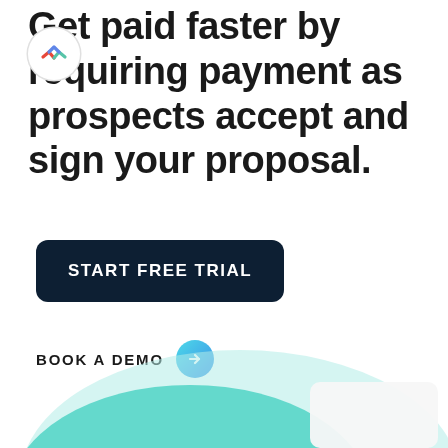[Figure (logo): ClickUp logo mark — a circular white badge with a small colorful chevron/arrow icon in red, green, and blue]
Get paid faster by requiring payment as prospects accept and sign your proposal.
START FREE TRIAL
BOOK A DEMO
[Figure (illustration): Teal/mint colored abstract rounded shape illustration, partially visible at the bottom of the page with a white card element]